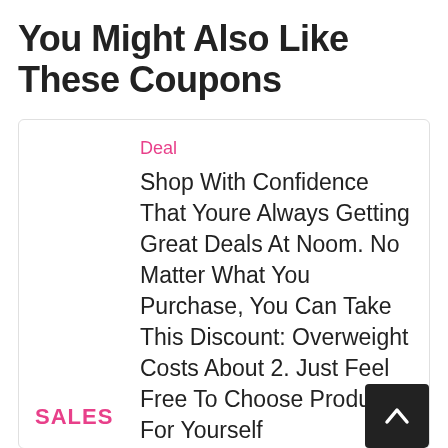You Might Also Like These Coupons
Deal
Shop With Confidence That Youre Always Getting Great Deals At Noom. No Matter What You Purchase, You Can Take This Discount: Overweight Costs About 2. Just Feel Free To Choose Products For Yourself
SALES